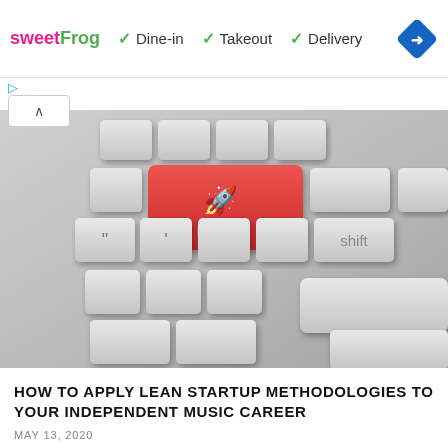[Figure (infographic): SweetFrog ad banner showing logo, checkmarks for Dine-in, Takeout, Delivery, and a blue diamond navigation icon]
[Figure (photo): Close-up photo of a keyboard with a red Launch key featuring a rocket icon, and a shift key visible]
HOW TO APPLY LEAN STARTUP METHODOLOGIES TO YOUR INDEPENDENT MUSIC CAREER
MAY 13, 2020